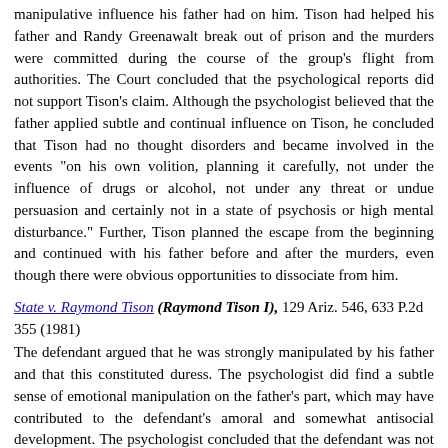manipulative influence his father had on him. Tison had helped his father and Randy Greenawalt break out of prison and the murders were committed during the course of the group's flight from authorities. The Court concluded that the psychological reports did not support Tison's claim. Although the psychologist believed that the father applied subtle and continual influence on Tison, he concluded that Tison had no thought disorders and became involved in the events "on his own volition, planning it carefully, not under the influence of drugs or alcohol, not under any threat or undue persuasion and certainly not in a state of psychosis or high mental disturbance." Further, Tison planned the escape from the beginning and continued with his father before and after the murders, even though there were obvious opportunities to dissociate from him.
State v. Raymond Tison (Raymond Tison I), 129 Ariz. 546, 633 P.2d 355 (1981)
The defendant argued that he was strongly manipulated by his father and that this constituted duress. The psychologist did find a subtle sense of emotional manipulation on the father's part, which may have contributed to the defendant's amoral and somewhat antisocial development. The psychologist concluded that the defendant was not operating under any kind of irresistible urge. The law presumes that all people possess a free will and are held accountable for their conduct. Even with Gary Tison exerting some influence over this defendant, the evidence does not show that the defendant's will was overwhelmed. This is not sufficiently substantial to call for leniency.